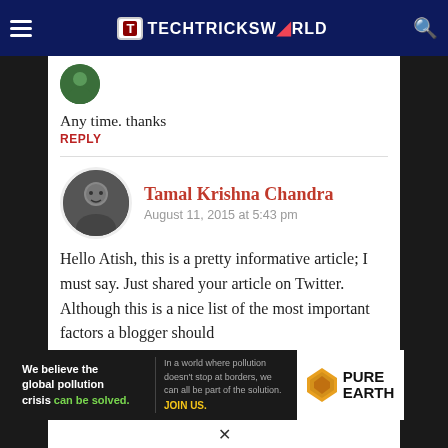TECHTRICKSWORLD
Any time. thanks
REPLY
Tamal Krishna Chandra
August 11, 2015 at 5:43 pm
Hello Atish, this is a pretty informative article; I must say. Just shared your article on Twitter. Although this is a nice list of the most important factors a blogger should
[Figure (infographic): Pure Earth advertisement banner: 'We believe the global pollution crisis can be solved. In a world where pollution doesn't stop at borders, we can all be part of the solution. JOIN US.' with Pure Earth logo and diamond icon.]